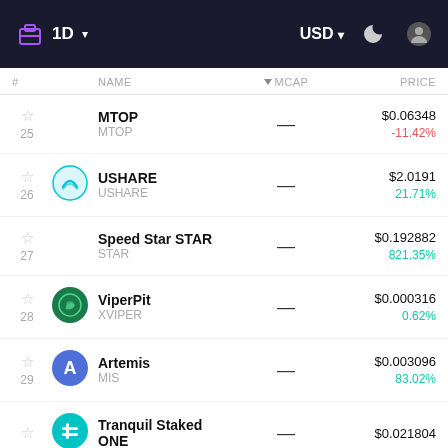1D | USD
| # | NAME | MCAP | PRICE |
| --- | --- | --- | --- |
| 25 | MTOP / MTOP | — | $0.06348 / -11.42% |
| 26 | USHARE / USHARE | — | $2.0191 / 21.71% |
| 27 | Speed Star STAR / STAR | — | $0.192882 / 821.35% |
| 28 | ViperPit / XVIPER | — | $0.000316 / 0.62% |
| 29 | Artemis / MIS | — | $0.003096 / 83.02% |
| 30 | Tranquil Staked ONE | — | $0.021804 |